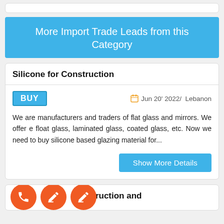More Import Trade Leads from this Category
Silicone for Construction
BUY   Jun 20' 2022/  Lebanon
We are manufacturers and traders of flat glass and mirrors. We offer e float glass, laminated glass, coated glass, etc. Now we need to buy silicone based glazing material for...
Show More Details
Construction and